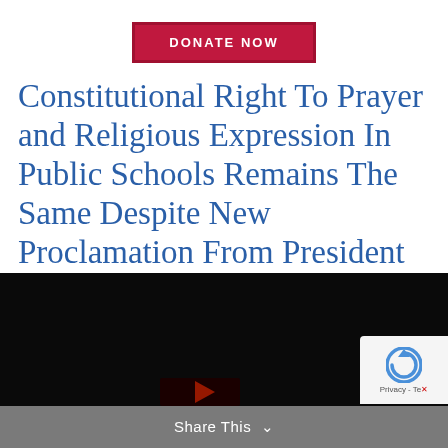[Figure (other): Donate Now button — red/crimson rectangle with white bold uppercase text 'DONATE NOW']
Constitutional Right To Prayer and Religious Expression In Public Schools Remains The Same Despite New Proclamation From President Trump
[Figure (screenshot): Black video player area at the bottom of the page with a partially visible image at the bottom edge]
Share This ∨